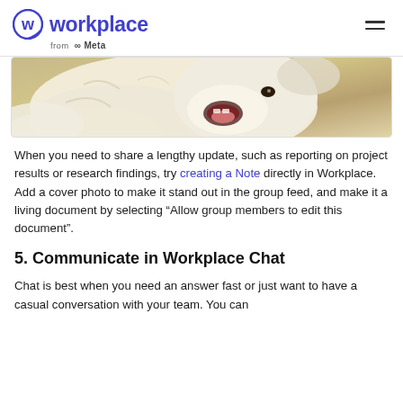workplace from Meta
[Figure (photo): Partial photo of a white fluffy dog with mouth open, lying down, cropped view showing head and upper body]
When you need to share a lengthy update, such as reporting on project results or research findings, try creating a Note directly in Workplace. Add a cover photo to make it stand out in the group feed, and make it a living document by selecting “Allow group members to edit this document”.
5. Communicate in Workplace Chat
Chat is best when you need an answer fast or just want to have a casual conversation with your team. You can